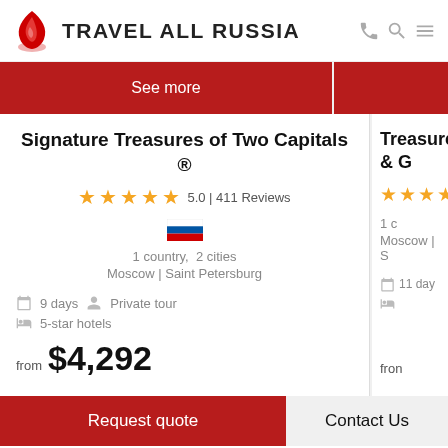TRAVEL ALL RUSSIA
See more
Signature Treasures of Two Capitals ®
5.0 | 411 Reviews
1 country,  2 cities
Moscow | Saint Petersburg
9 days   Private tour   5-star hotels
from $4,292
Treasures & G
1 c
Moscow | S
11 days
from
Request quote
Contact Us